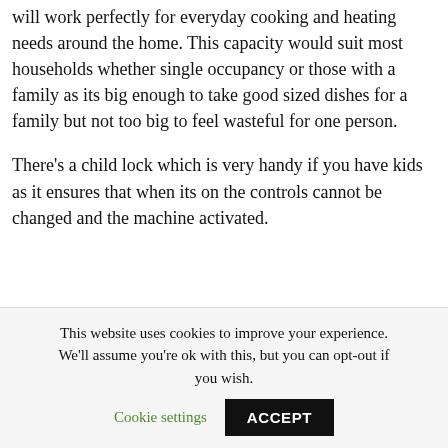will work perfectly for everyday cooking and heating needs around the home. This capacity would suit most households whether single occupancy or those with a family as its big enough to take good sized dishes for a family but not too big to feel wasteful for one person.
There’s a child lock which is very handy if you have kids as it ensures that when its on the controls cannot be changed and the machine activated.
This website uses cookies to improve your experience. We'll assume you're ok with this, but you can opt-out if you wish. Cookie settings ACCEPT